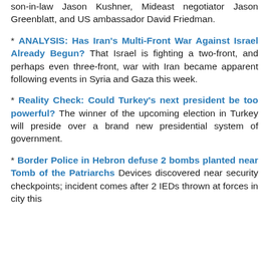son-in-law Jason Kushner, Mideast negotiator Jason Greenblatt, and US ambassador David Friedman.
* ANALYSIS: Has Iran's Multi-Front War Against Israel Already Begun? That Israel is fighting a two-front, and perhaps even three-front, war with Iran became apparent following events in Syria and Gaza this week.
* Reality Check: Could Turkey's next president be too powerful? The winner of the upcoming election in Turkey will preside over a brand new presidential system of government.
* Border Police in Hebron defuse 2 bombs planted near Tomb of the Patriarchs Devices discovered near security checkpoints; incident comes after 2 IEDs thrown at forces in city this